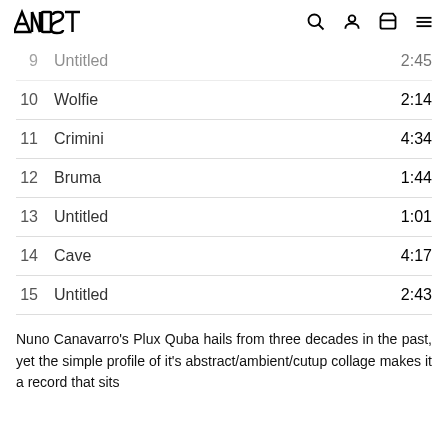NOST [logo] search account cart menu
9  Untitled  2:45
10  Wolfie  2:14
11  Crimini  4:34
12  Bruma  1:44
13  Untitled  1:01
14  Cave  4:17
15  Untitled  2:43
Nuno Canavarro's Plux Quba hails from three decades in the past, yet the simple profile of it's abstract/ambient/cutup collage makes it a record that sits quite comfortably in post-RM informed future to 1990. Pl...